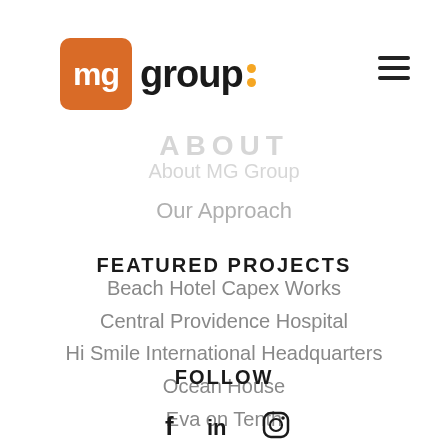[Figure (logo): MG Group logo: orange rounded square with white 'mg' text, followed by 'group' in black bold font with two orange/yellow dots as a colon, and a hamburger menu icon in the top right]
ABOUT
About MG Group
Our Approach
FEATURED PROJECTS
Beach Hotel Capex Works
Central Providence Hospital
Hi Smile International Headquarters
Ocean House
Eva on Tenth
FOLLOW
[Figure (infographic): Social media icons: Facebook (f), LinkedIn (in), Instagram (camera outline)]